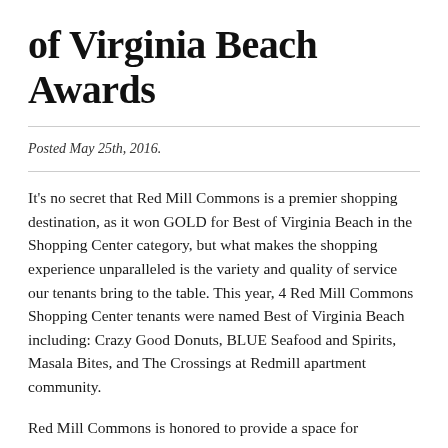of Virginia Beach Awards
Posted May 25th, 2016.
It’s no secret that Red Mill Commons is a premier shopping destination, as it won GOLD for Best of Virginia Beach in the Shopping Center category, but what makes the shopping experience unparalleled is the variety and quality of service our tenants bring to the table. This year, 4 Red Mill Commons Shopping Center tenants were named Best of Virginia Beach including: Crazy Good Donuts, BLUE Seafood and Spirits, Masala Bites, and The Crossings at Redmill apartment community.
Red Mill Commons is honored to provide a space for